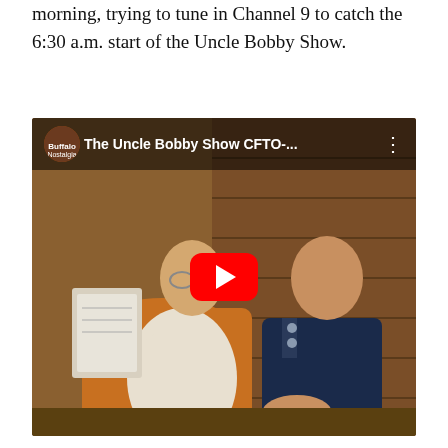morning, trying to tune in Channel 9 to catch the 6:30 a.m. start of the Uncle Bobby Show.
[Figure (screenshot): YouTube video thumbnail showing a still from The Uncle Bobby Show CFTO, featuring two men sitting — one in a white outfit holding papers and one in a dark uniform — in a warm indoor studio setting with a brick wall background. A red YouTube play button is overlaid in the center.]